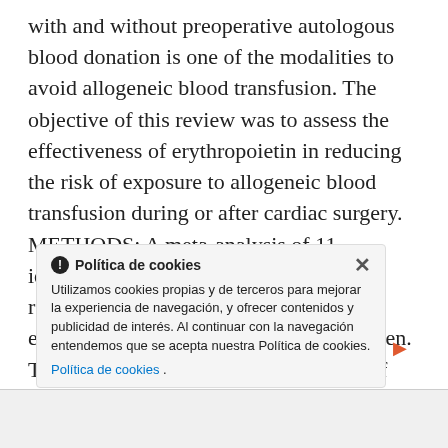with and without preoperative autologous blood donation is one of the modalities to avoid allogeneic blood transfusion. The objective of this review was to assess the effectiveness of erythropoietin in reducing the risk of exposure to allogeneic blood transfusion during or after cardiac surgery. METHODS: A meta-analysis of 11 identified randomized controlled trials, reporting comparisons between erythropoietin and control, was undertaken. The primary outcome was the number of patients exposed to allogeneic blood transfusion during or after cardiac surgery.
Política de cookies
Utilizamos cookies propias y de terceros para mejorar la experiencia de navegación, y ofrecer contenidos y publicidad de interés. Al continuar con la navegación entendemos que se acepta nuestra Política de cookies.
Política de cookies .